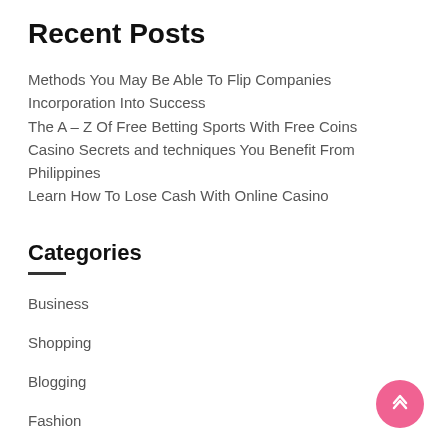Recent Posts
Methods You May Be Able To Flip Companies Incorporation Into Success
The A – Z Of Free Betting Sports With Free Coins
Casino Secrets and techniques You Benefit From Philippines
Learn How To Lose Cash With Online Casino
Categories
Business
Shopping
Blogging
Fashion